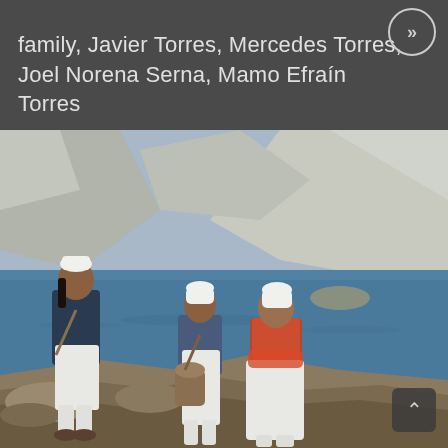family, Javier Torres, Mercedes Torres, Joel Norena Serna, Mamo Efraín Torres
[Figure (photo): Three people wearing traditional white clothing and white caps standing on rocky terrain with a blue lake and mountain scenery in the background. The person on the left wears a dark jacket over white garments, the center person wears a blue jacket with a woven bag, and the person on the right wears a rust-orange vest over white garments.]